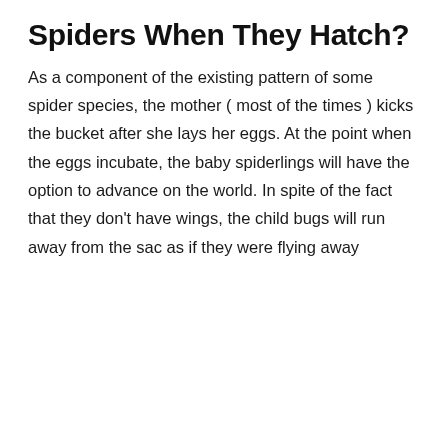Spiders When They Hatch?
As a component of the existing pattern of some spider species, the mother ( most of the times ) kicks the bucket after she lays her eggs. At the point when the eggs incubate, the baby spiderlings will have the option to advance on the world. In spite of the fact that they don't have wings, the child bugs will run away from the sac as if they were flying away